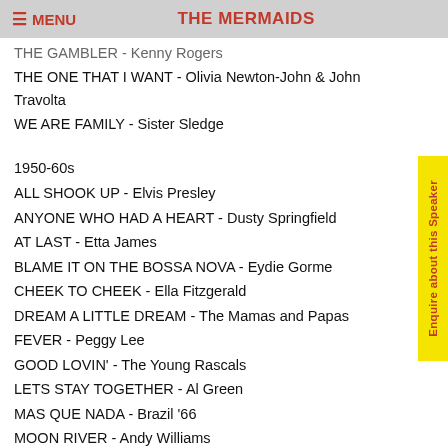MENU | THE MERMAIDS
THE GAMBLER - Kenny Rogers
THE ONE THAT I WANT - Olivia Newton-John & John Travolta
WE ARE FAMILY - Sister Sledge
1950-60s
ALL SHOOK UP - Elvis Presley
ANYONE WHO HAD A HEART - Dusty Springfield
AT LAST - Etta James
BLAME IT ON THE BOSSA NOVA - Eydie Gorme
CHEEK TO CHEEK - Ella Fitzgerald
DREAM A LITTLE DREAM - The Mamas and Papas
FEVER - Peggy Lee
GOOD LOVIN' - The Young Rascals
LETS STAY TOGETHER - Al Green
MAS QUE NADA - Brazil '66
MOON RIVER - Andy Williams
MRS ROBINSON - Simon & Garfunkel
MUSIC TO WATCH GIRLS BY - Andy Williams